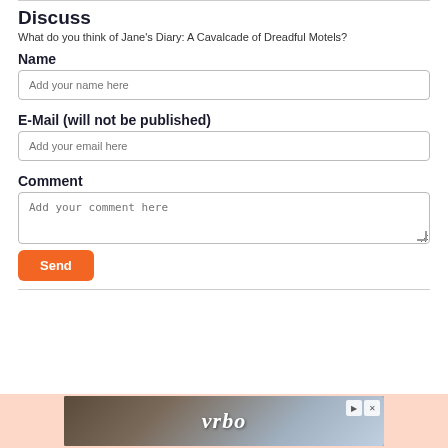Discuss
What do you think of Jane's Diary: A Cavalcade of Dreadful Motels?
Name
Add your name here
E-Mail (will not be published)
Add your email here
Comment
Add your comment here
[Figure (other): vrbo advertisement banner at the bottom of the page]